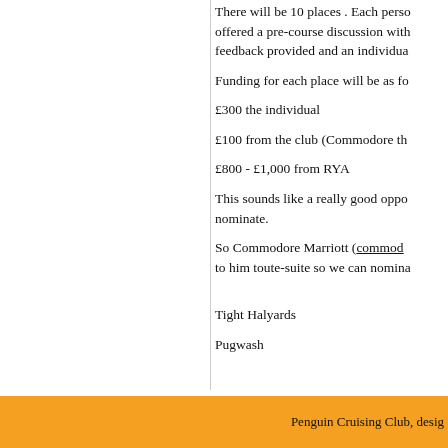There will be 10 places . Each person will be offered a pre-course discussion with feedback provided and an individual
Funding for each place will be as fo
£300 the individual
£100 from the club (Commodore th
£800 - £1,000 from RYA
This sounds like a really good oppo nominate.
So Commodore Marriott (commo to him toute-suite so we can nomina
Tight Halyards
Pugwash
Penguin Cruising Club, desig